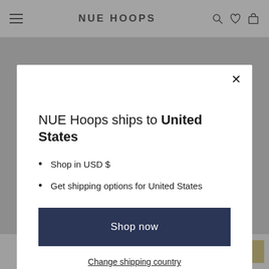NUE HOOPS
[Figure (screenshot): Modal dialog over e-commerce website. Modal contains shipping destination message, bullet list, Shop now button, and Change shipping country link.]
NUE Hoops ships to United States
Shop in USD $
Get shipping options for United States
Shop now
Change shipping country